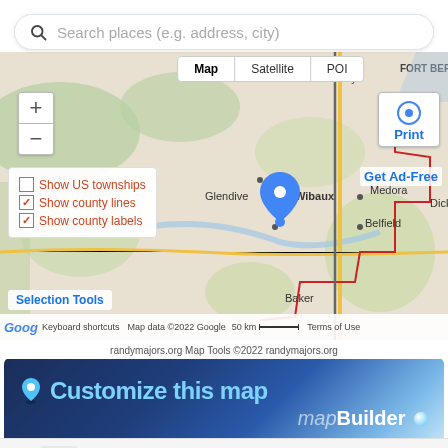[Figure (screenshot): Search bar with magnifying glass icon and placeholder text 'Search places (e.g. address, city)']
[Figure (map): Interactive map showing region around Glendive, Medora, Dickinson, Belfield, Baker in North Dakota/Montana area. Map/Satellite/POI tabs, zoom controls, location options (Show US townships, Show county lines, Show county labels), Print button, Get Ad-Free link, Google attribution, scale bar 50km, Terms of Use, Keyboard shortcuts, Map data ©2022 Google. Blue map pin dropped. Red county boundary lines visible.]
[Figure (infographic): mapBuilder promotional banner with location pin icon, 'Customize this map' text in blue, and 'mapBuilder' branding in white italic text on dark blue gradient background]
randymajors.org Map Tools ©2022 randymajors.org
[Figure (screenshot): Bottom advertisement bar: 'Nota' app ad with 'Book A Demo Today' text and blue OPEN button. Gray background text behind reading partial letters. Ad controls (X and play button) visible.]